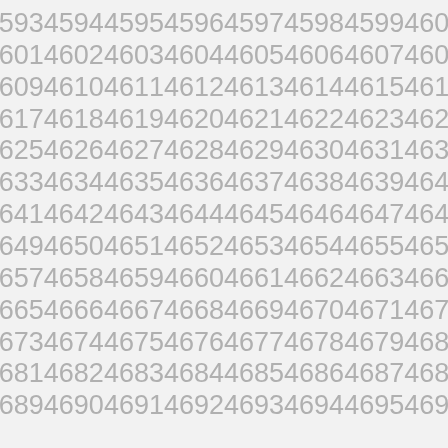4593 4594 4595 4596 4597 4598 4599 4600
4601 4602 4603 4604 4605 4606 4607 4608
4609 4610 4611 4612 4613 4614 4615 4616
4617 4618 4619 4620 4621 4622 4623 4624
4625 4626 4627 4628 4629 4630 4631 4632
4633 4634 4635 4636 4637 4638 4639 4640
4641 4642 4643 4644 4645 4646 4647 4648
4649 4650 4651 4652 4653 4654 4655 4656
4657 4658 4659 4660 4661 4662 4663 4664
4665 4666 4667 4668 4669 4670 4671 4672
4673 4674 4675 4676 4677 4678 4679 4680
4681 4682 4683 4684 4685 4686 4687 4688
4689 4690 4691 4692 4693 4694 4695 4696